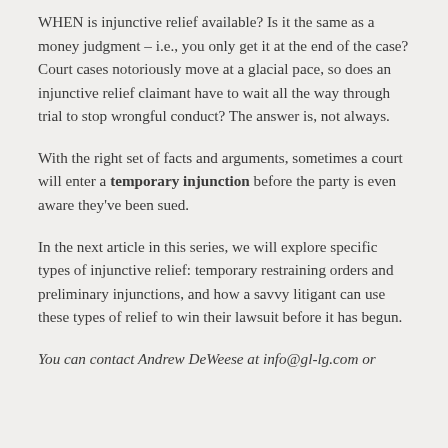WHEN is injunctive relief available? Is it the same as a money judgment – i.e., you only get it at the end of the case? Court cases notoriously move at a glacial pace, so does an injunctive relief claimant have to wait all the way through trial to stop wrongful conduct? The answer is, not always.
With the right set of facts and arguments, sometimes a court will enter a temporary injunction before the party is even aware they've been sued.
In the next article in this series, we will explore specific types of injunctive relief: temporary restraining orders and preliminary injunctions, and how a savvy litigant can use these types of relief to win their lawsuit before it has begun.
You can contact Andrew DeWeese at info@gl-lg.com or